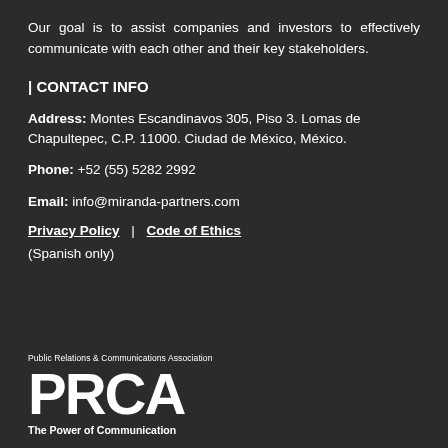Our goal is to assist companies and investors to effectively communicate with each other and their key stakeholders.
| CONTACT INFO
Address: Montes Escandinavos 305, Piso 3. Lomas de Chapultepec, C.P. 11000. Ciudad de México, México.
Phone: +52 (55) 5282 2992
Email: info@miranda-partners.com
Privacy Policy  |  Code of Ethics
(Spanish only)
[Figure (logo): PRCA logo — Public Relations & Communications Association, with tagline 'The Power of Communication']